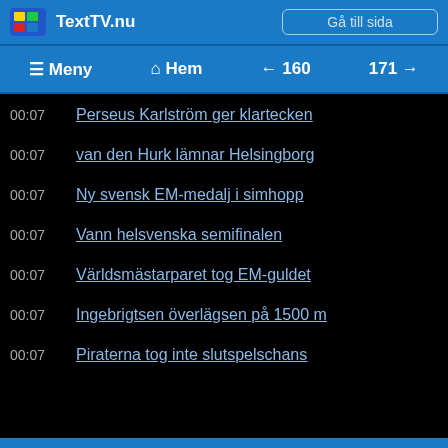TextTV.nu   Gå till sida
≡ Meny   ⌂ Hem   ← 160   171 →
00:07   Perseus Karlström ger klartecken
00:07   van den Hurk lämnar Helsingborg
00:07   Ny svensk EM-medalj i simhopp
00:07   Vann helsvenska semifinalen
00:07   Världsmästarparet tog EM-guldet
00:07   Ingebrigtsen överlägsen på 1500 m
00:07   Piraterna tog inte slutspelschans